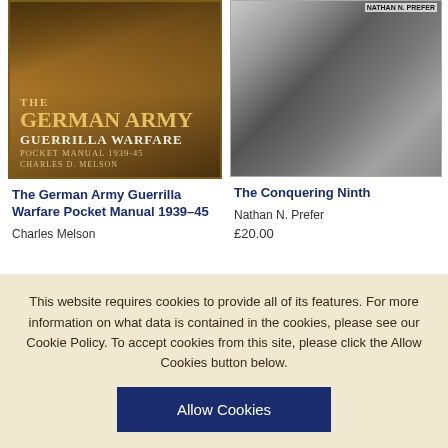[Figure (photo): Book cover of 'The German Army Guerrilla Warfare Pocket Manual 1939-45' by Charles D. Melson, with dark gold/brown tones and figures in the background]
[Figure (photo): Book cover of 'The Conquering Ninth' by Nathan N. Prefer, black and white photo of WWII rubble/destruction scene with red banner at top]
The German Army Guerrilla Warfare Pocket Manual 1939–45
Charles Melson
The Conquering Ninth
Nathan N. Prefer
£20.00
This website requires cookies to provide all of its features. For more information on what data is contained in the cookies, please see our Cookie Policy. To accept cookies from this site, please click the Allow Cookies button below.